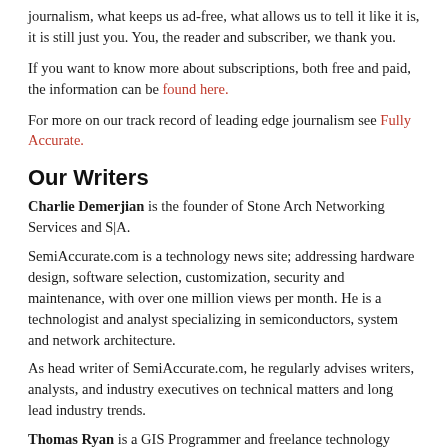journalism, what keeps us ad-free, what allows us to tell it like it is, it is still just you. You, the reader and subscriber, we thank you.
If you want to know more about subscriptions, both free and paid, the information can be found here.
For more on our track record of leading edge journalism see Fully Accurate.
Our Writers
Charlie Demerjian is the founder of Stone Arch Networking Services and S|A.
SemiAccurate.com is a technology news site; addressing hardware design, software selection, customization, security and maintenance, with over one million views per month. He is a technologist and analyst specializing in semiconductors, system and network architecture.
As head writer of SemiAccurate.com, he regularly advises writers, analysts, and industry executives on technical matters and long lead industry trends.
Thomas Ryan is a GIS Programmer and freelance technology writer from Seattle, WA. You can find his work on SemiAccurate and PCWorld.
Tweets from https://twitter.com/SemiAccurate/lists/writers